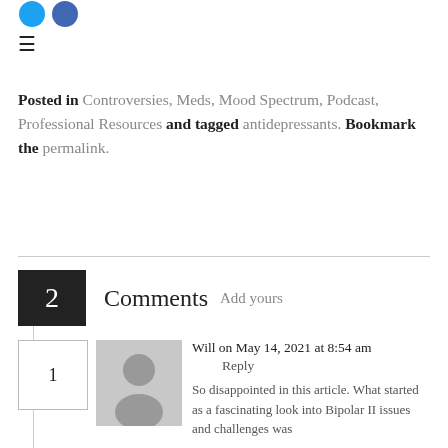[Figure (logo): Two social media icon circles (blue Twitter and blue Facebook) at the top left]
≡
Posted in Controversies, Meds, Mood Spectrum, Podcast, Professional Resources and tagged antidepressants. Bookmark the permalink.
2 Comments Add yours
Will on May 14, 2021 at 8:54 am
Reply
So disappointed in this article. What started as a fascinating look into Bipolar II issues and challenges was